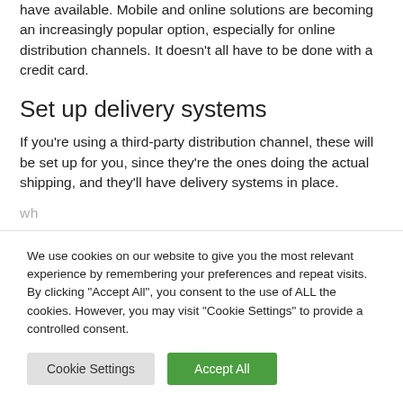have available. Mobile and online solutions are becoming an increasingly popular option, especially for online distribution channels. It doesn't all have to be done with a credit card.
Set up delivery systems
If you're using a third-party distribution channel, these will be set up for you, since they're the ones doing the actual shipping, and they'll have delivery systems in place.
We use cookies on our website to give you the most relevant experience by remembering your preferences and repeat visits. By clicking "Accept All", you consent to the use of ALL the cookies. However, you may visit "Cookie Settings" to provide a controlled consent.